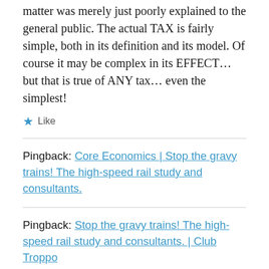matter was merely just poorly explained to the general public. The actual TAX is fairly simple, both in its definition and its model. Of course it may be complex in its EFFECT… but that is true of ANY tax… even the simplest!
★ Like
Pingback: Core Economics | Stop the gravy trains! The high-speed rail study and consultants.
Pingback: Stop the gravy trains! The high-speed rail study and consultants. | Club Troppo